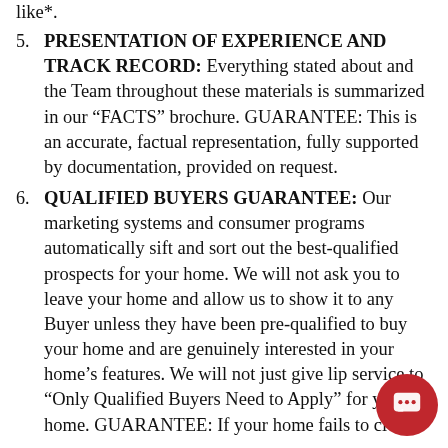like*.
5. PRESENTATION OF EXPERIENCE AND TRACK RECORD: Everything stated about and the Team throughout these materials is summarized in our “FACTS” brochure. GUARANTEE: This is an accurate, factual representation, fully supported by documentation, provided on request.
6. QUALIFIED BUYERS GUARANTEE: Our marketing systems and consumer programs automatically sift and sort out the best-qualified prospects for your home. We will not ask you to leave your home and allow us to show it to any Buyer unless they have been pre-qualified to buy your home and are genuinely interested in your home’s features. We will not just give lip service to “Only Qualified Buyers Need to Apply” for your home. GUARANTEE: If your home fails to close